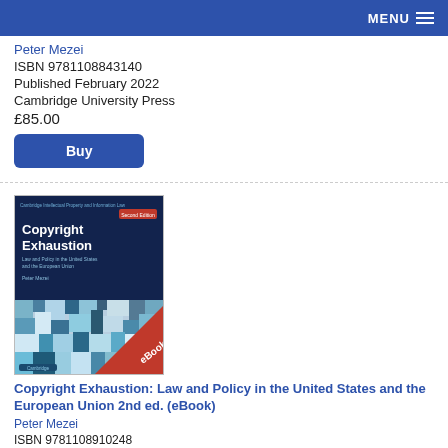MENU
Peter Mezei
ISBN 9781108843140
Published February 2022
Cambridge University Press
£85.00
Buy
[Figure (illustration): Book cover of 'Copyright Exhaustion: Law and Policy in the United States and the European Union 2nd ed.' with eBook badge. Dark blue cover with mosaic/abstract image and red diagonal eBook banner in bottom right corner.]
Copyright Exhaustion: Law and Policy in the United States and the European Union 2nd ed. (eBook)
Peter Mezei
ISBN 9781108910248
Published February 2022